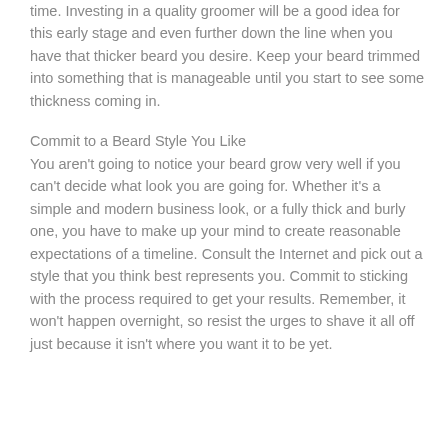time. Investing in a quality groomer will be a good idea for this early stage and even further down the line when you have that thicker beard you desire. Keep your beard trimmed into something that is manageable until you start to see some thickness coming in.
Commit to a Beard Style You Like
You aren't going to notice your beard grow very well if you can't decide what look you are going for. Whether it's a simple and modern business look, or a fully thick and burly one, you have to make up your mind to create reasonable expectations of a timeline. Consult the Internet and pick out a style that you think best represents you. Commit to sticking with the process required to get your results. Remember, it won't happen overnight, so resist the urges to shave it all off just because it isn't where you want it to be yet.